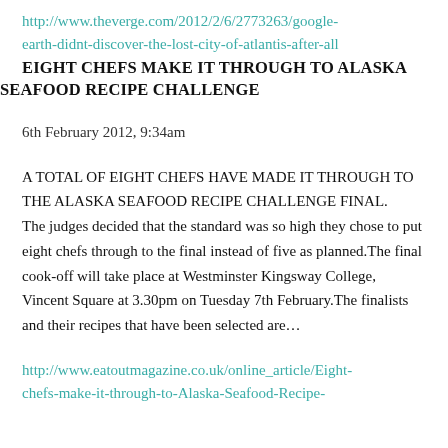http://www.theverge.com/2012/2/6/2773263/google-earth-didnt-discover-the-lost-city-of-atlantis-after-all
EIGHT CHEFS MAKE IT THROUGH TO ALASKA SEAFOOD RECIPE CHALLENGE
6th February 2012, 9:34am
A TOTAL OF EIGHT CHEFS HAVE MADE IT THROUGH TO THE ALASKA SEAFOOD RECIPE CHALLENGE FINAL. The judges decided that the standard was so high they chose to put eight chefs through to the final instead of five as planned.The final cook-off will take place at Westminster Kingsway College, Vincent Square at 3.30pm on Tuesday 7th February.The finalists and their recipes that have been selected are…
http://www.eatoutmagazine.co.uk/online_article/Eight-chefs-make-it-through-to-Alaska-Seafood-Recipe-